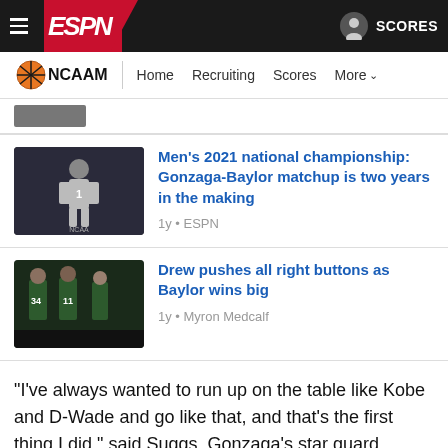ESPN — NCAAM | Home | Recruiting | Scores | More
[Figure (screenshot): Partial thumbnail of basketball player at top of article list]
Men's 2021 national championship: Gonzaga-Baylor matchup is two years in the making — 1y • ESPN
Drew pushes all right buttons as Baylor wins big — 1y • Myron Medcalf
"I've always wanted to run up on the table like Kobe and D-Wade and go like that, and that's the first thing I did," said Suggs, Gonzaga's star guard. "Man, that is something that you practice on your mini-hoop as a kid or in the gym just messing around. And to be able to do that, it's crazy."